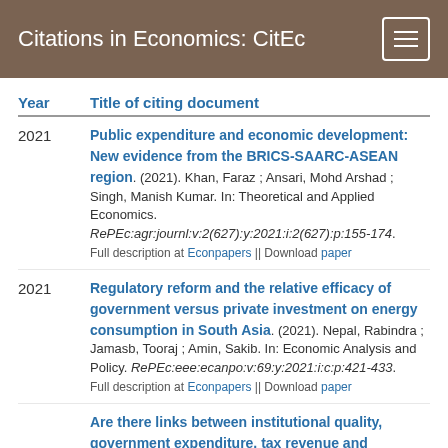Citations in Economics: CitEc
| Year | Title of citing document |
| --- | --- |
| 2021 | Public expenditure and economic development: New evidence from the BRICS-SAARC-ASEAN region. (2021). Khan, Faraz ; Ansari, Mohd Arshad ; Singh, Manish Kumar. In: Theoretical and Applied Economics. RePEc:agr:journl:v:2(627):y:2021:i:2(627):p:155-174. Full description at Econpapers || Download paper |
| 2021 | Regulatory reform and the relative efficacy of government versus private investment on energy consumption in South Asia. (2021). Nepal, Rabindra ; Jamasb, Tooraj ; Amin, Sakib. In: Economic Analysis and Policy. RePEc:eee:ecanpo:v:69:y:2021:i:c:p:421-433. Full description at Econpapers || Download paper |
|  | Are there links between institutional quality, government expenditure, tax revenue and... |